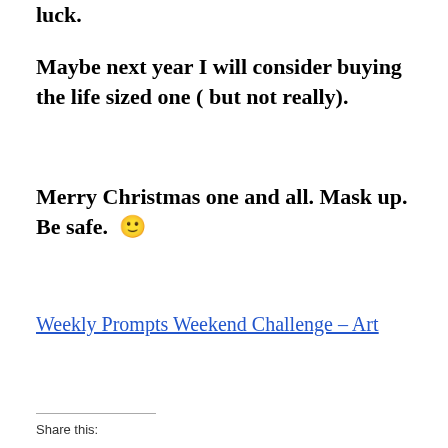luck.
Maybe next year I will consider buying the life sized one ( but not really).
Merry Christmas one and all. Mask up. Be safe. 🙂
Weekly Prompts Weekend Challenge – Art
Share this: